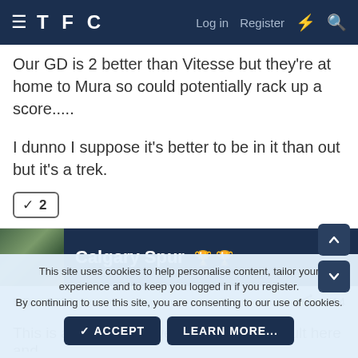TFC  Log in  Register
Our GD is 2 better than Vitesse but they're at home to Mura so could potentially rack up a score.....
I dunno I suppose it's better to be in it than out but it's a trek.
✓ 2
Calgary Spur 🏆 🏆
5 Dec 2021  #14
This site uses cookies to help personalise content, tailor your experience and to keep you logged in if you register.
By continuing to use this site, you are consenting to our use of cookies.
✓ ACCEPT   LEARN MORE...